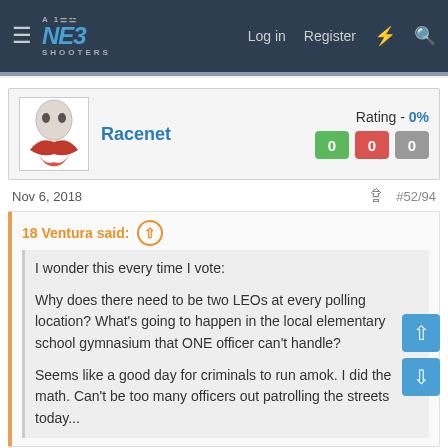NE3 SHOOTERS — Log in  Register
[Figure (logo): NE Shooters forum logo with hamburger menu, nav links: Log in, Register, lightning bolt, search icon]
Racenet   Rating - 0%  0 0 0
Nov 6, 2018   #52/94
18 Ventura said: ↑
I wonder this every time I vote:

Why does there need to be two LEOs at every polling location? What's going to happen in the local elementary school gymnasium that ONE officer can't handle?

Seems like a good day for criminals to run amok. I did the math. Can't be too many officers out patrolling the streets today...
Oh come on now. One has to stay behind while the other does a doughnut run. Duh! 😉